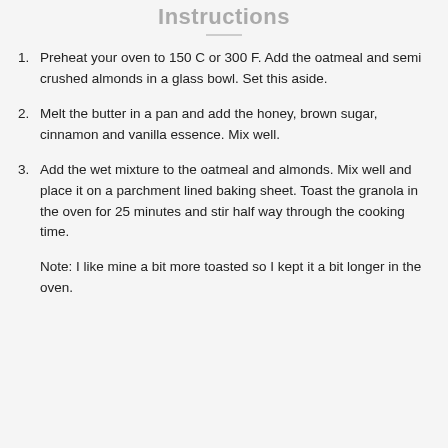Instructions
Preheat your oven to 150 C or 300 F. Add the oatmeal and semi crushed almonds in a glass bowl. Set this aside.
Melt the butter in a pan and add the honey, brown sugar, cinnamon and vanilla essence. Mix well.
Add the wet mixture to the oatmeal and almonds. Mix well and place it on a parchment lined baking sheet. Toast the granola in the oven for 25 minutes and stir half way through the cooking time.
Note: I like mine a bit more toasted so I kept it a bit longer in the oven.